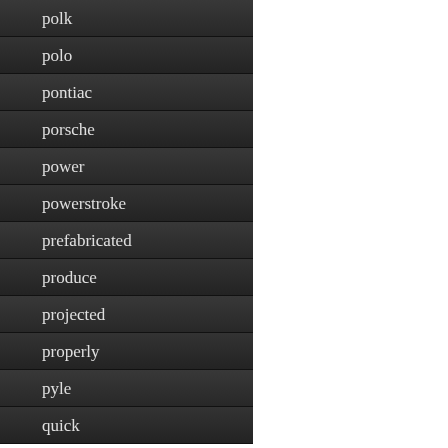polk
polo
pontiac
porsche
power
powerstroke
prefabricated
produce
projected
properly
pyle
quick